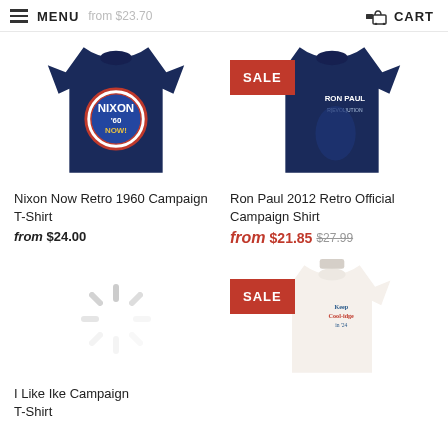MENU  CART
[Figure (photo): Navy blue Nixon '60 Now campaign t-shirt]
[Figure (photo): Navy blue Ron Paul 2012 Revolution campaign t-shirt with SALE badge]
Nixon Now Retro 1960 Campaign T-Shirt
from $24.00
Ron Paul 2012 Retro Official Campaign Shirt
from $21.85 $27.99
[Figure (illustration): Loading spinner / circular loading indicator]
[Figure (photo): White Keep Coolidge in '24 campaign t-shirt with SALE badge]
I Like Ike Campaign T-Shirt